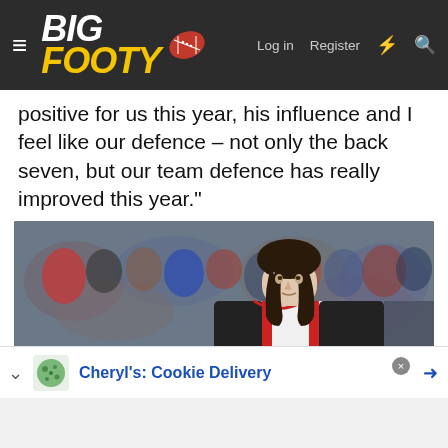BigFooty — Log in  Register
positive for us this year, his influence and I feel like our defence – not only the back seven, but our team defence has really improved this year."
[Figure (photo): AFL footballer in St Kilda Saints jersey (black, white, red) with 'pepper money' sponsor logo, shaking hands with fans after a match. Player has long dark hair in a mullet style. Crowd visible in background.]
Cheryl's: Cookie Delivery